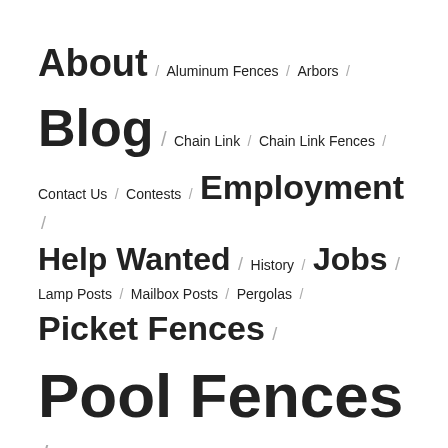About / Aluminum Fences / Arbors /
Blog / Chain Link / Chain Link Fences /
Contact Us / Contests / Employment /
Help Wanted / History / Jobs /
Lamp Posts / Mailbox Posts / Pergolas /
Picket Fences /
Pool Fences /
Post & Rail Fences / Privacy Fences /
Products / Vinyl Fences /